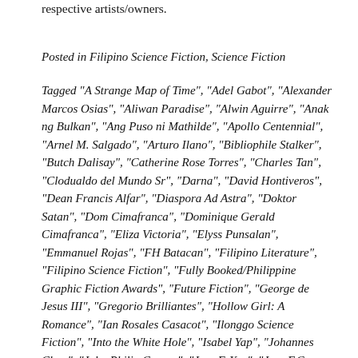respective artists/owners.
Posted in Filipino Science Fiction, Science Fiction
Tagged "A Strange Map of Time", "Adel Gabot", "Alexander Marcos Osias", "Aliwan Paradise", "Alwin Aguirre", "Anak ng Bulkan", "Ang Puso ni Mathilde", "Apollo Centennial", "Arnel M. Salgado", "Arturo Ilano", "Bibliophile Stalker", "Butch Dalisay", "Catherine Rose Torres", "Charles Tan", "Clodualdo del Mundo Sr", "Darna", "David Hontiveros", "Dean Francis Alfar", "Diaspora Ad Astra", "Doktor Satan", "Dom Cimafranca", "Dominique Gerald Cimafranca", "Eliza Victoria", "Elyss Punsalan", "Emmanuel Rojas", "FH Batacan", "Filipino Literature", "Filipino Science Fiction", "Fully Booked/Philippine Graphic Fiction Awards", "Future Fiction", "George de Jesus III", "Gregorio Brilliantes", "Hollow Girl: A Romance", "Ian Rosales Casacot", "Ilonggo Science Fiction", "Into the White Hole", "Isabel Yap", "Johannes Chua", "John Philip Corpuz", "Jose F. Yap", "Jose F.C. Añozo", "Jose